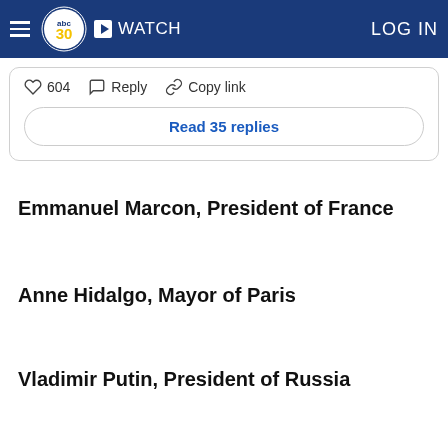abc30 | WATCH | LOG IN
[Figure (screenshot): Social media comment interaction bar showing heart icon with 604 likes, reply button, copy link button, and a 'Read 35 replies' button]
Emmanuel Marcon, President of France
Anne Hidalgo, Mayor of Paris
Vladimir Putin, President of Russia